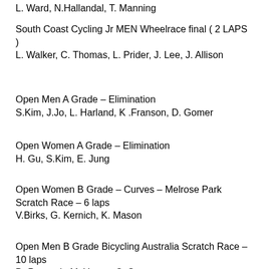L. Ward, N.Hallandal, T. Manning
South Coast Cycling Jr  MEN Wheelrace final ( 2 LAPS )
L. Walker, C. Thomas, L. Prider, J. Lee, J. Allison
Open Men A  Grade – Elimination
S.Kim, J.Jo, L. Harland, K .Franson, D. Gomer
Open Women A Grade  – Elimination
H. Gu, S.Kim, E. Jung
Open Women B Grade – Curves – Melrose Park Scratch Race – 6 laps
V.Birks, G. Kernich, K. Mason
Open Men B Grade Bicycling Australia Scratch Race – 10 laps
D. Peacock, M. Young, C. Spence